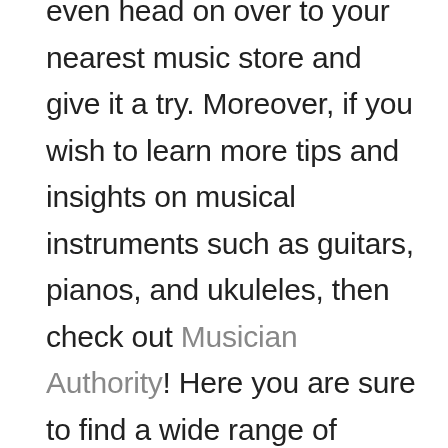even head on over to your nearest music store and give it a try. Moreover, if you wish to learn more tips and insights on musical instruments such as guitars, pianos, and ukuleles, then check out Musician Authority! Here you are sure to find a wide range of articles, blogs, and more that can help add value to your knowledge about music. Click here to access our latest blog on the most popular music genres.